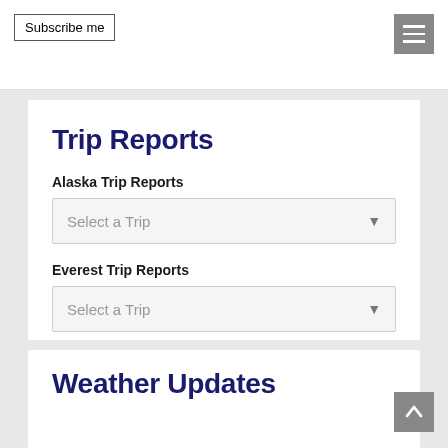Subscribe me
Trip Reports
Alaska Trip Reports
Select a Trip
Everest Trip Reports
Select a Trip
International Trip Reports
Select a Trip
Weather Updates